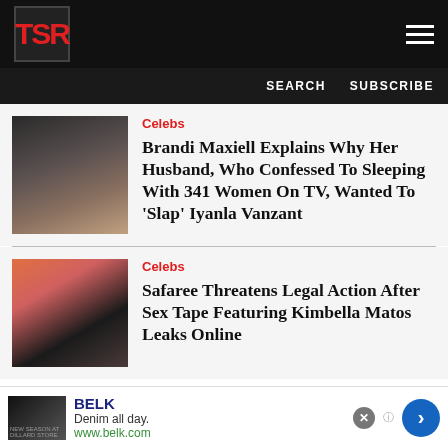TSR
SEARCH   SUBSCRIBE
Celebs
Brandi Maxiell Explains Why Her Husband, Who Confessed To Sleeping With 341 Women On TV, Wanted To 'Slap' Iyanla Vanzant
Celebs
Safaree Threatens Legal Action After Sex Tape Featuring Kimbella Matos Leaks Online
BELK
Denim all day.
www.belk.com